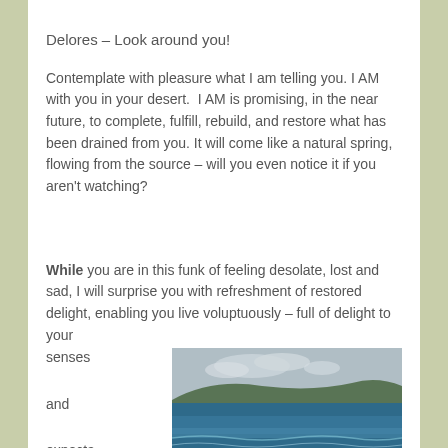Delores – Look around you!
Contemplate with pleasure what I am telling you. I AM with you in your desert.  I AM is promising, in the near future, to complete, fulfill, rebuild, and restore what has been drained from you. It will come like a natural spring, flowing from the source – will you even notice it if you aren't watching?
While you are in this funk of feeling desolate, lost and sad, I will surprise you with refreshment of restored delight, enabling you live voluptuously – full of delight to your senses and expectantly as
[Figure (photo): Ocean/sea landscape photo with blue water, waves along a pebbly shore, and a hilly landmass in the background under a cloudy sky.]